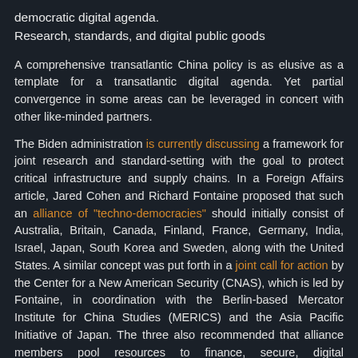democratic digital agenda.
Research, standards, and digital public goods
A comprehensive transatlantic China policy is as elusive as a template for a transatlantic digital agenda. Yet partial convergence in some areas can be leveraged in concert with other like-minded partners.
The Biden administration is currently discussing a framework for joint research and standard-setting with the goal to protect critical infrastructure and supply chains. In a Foreign Affairs article, Jared Cohen and Richard Fontaine proposed that such an alliance of “techno-democracies” should initially consist of Australia, Britain, Canada, Finland, France, Germany, India, Israel, Japan, South Korea and Sweden, along with the United States. A similar concept was put forth in a joint call for action by the Center for a New American Security (CNAS), which is led by Fontaine, in coordination with the Berlin-based Mercator Institute for China Studies (MERICS) and the Asia Pacific Initiative of Japan. The three also recommended that alliance members pool resources to finance, secure, digital infrastructure, and boost digital